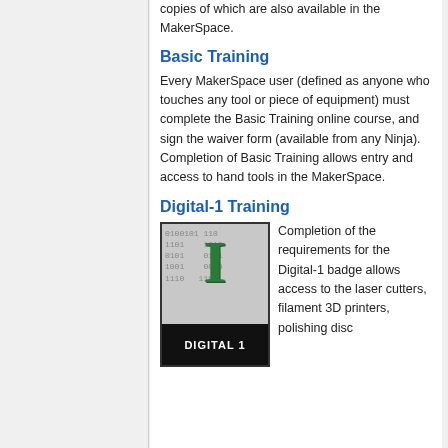copies of which are also available in the MakerSpace.
Basic Training
Every MakerSpace user (defined as anyone who touches any tool or piece of equipment) must complete the Basic Training online course, and sign the waiver form (available from any Ninja). Completion of Basic Training allows entry and access to hand tools in the MakerSpace.
Digital-1 Training
[Figure (illustration): Digital-1 badge: a black-bordered badge with binary digits (0101, 1101, etc.) in the background, a large dark green letter I in the center, and 'DIGITAL 1' text on a black label at the bottom.]
Completion of the requirements for the Digital-1 badge allows access to the laser cutters, filament 3D printers, polishing disc